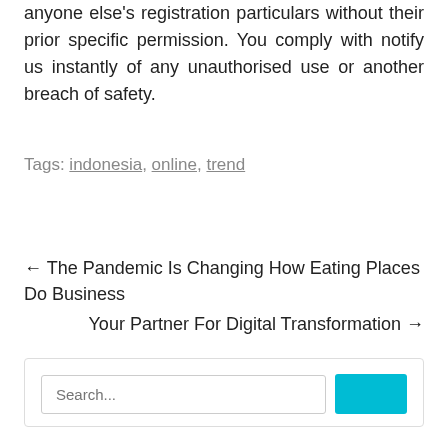anyone else's registration particulars without their prior specific permission. You comply with notify us instantly of any unauthorised use or another breach of safety.
Tags: indonesia, online, trend
← The Pandemic Is Changing How Eating Places Do Business
Your Partner For Digital Transformation →
Search...